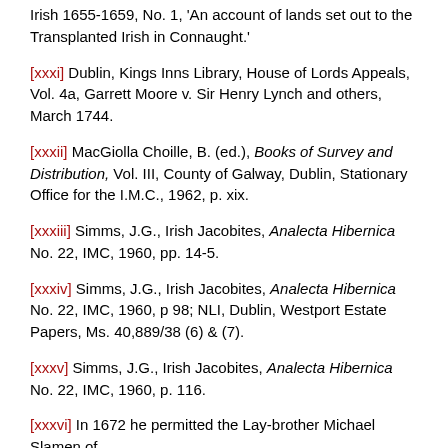Irish 1655-1659, No. 1, 'An account of lands set out to the Transplanted Irish in Connaught.'
[xxxi] Dublin, Kings Inns Library, House of Lords Appeals, Vol. 4a, Garrett Moore v. Sir Henry Lynch and others, March 1744.
[xxxii] MacGiolla Choille, B. (ed.), Books of Survey and Distribution, Vol. III, County of Galway, Dublin, Stationary Office for the I.M.C., 1962, p. xix.
[xxxiii] Simms, J.G., Irish Jacobites, Analecta Hibernica No. 22, IMC, 1960, pp. 14-5.
[xxxiv] Simms, J.G., Irish Jacobites, Analecta Hibernica No. 22, IMC, 1960, p 98; NLI, Dublin, Westport Estate Papers, Ms. 40,889/38 (6) & (7).
[xxxv] Simms, J.G., Irish Jacobites, Analecta Hibernica No. 22, IMC, 1960, p. 116.
[xxxvi] In 1672 he permitted the Lay-brother Michael Slamen of Mer-light to...